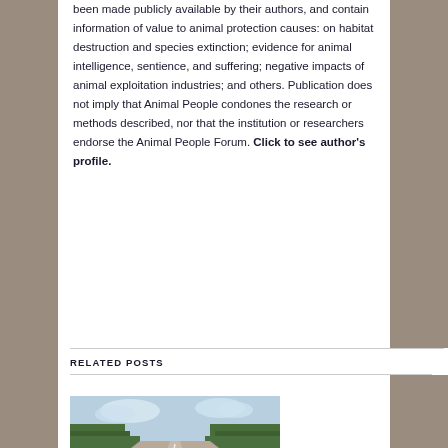been made publicly available by their authors, and contain information of value to animal protection causes: on habitat destruction and species extinction; evidence for animal intelligence, sentience, and suffering; negative impacts of animal exploitation industries; and others. Publication does not imply that Animal People condones the research or methods described, nor that the institution or researchers endorse the Animal People Forum. Click to see author's profile.
RELATED POSTS
[Figure (photo): A cow standing on a long straight road through a rural landscape with trees on either side]